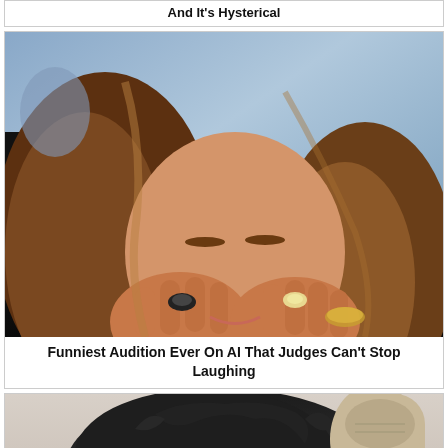And It's Hysterical
[Figure (photo): A woman with long brown hair laughing and covering her face with both hands, wearing rings and bracelets, in a light-colored striped shirt. Background shows a colorful painted mural.]
Funniest Audition Ever On AI That Judges Can't Stop Laughing
[Figure (photo): A person with dark messy hair and a raised fist or arm visible, outdoors with a light blurred background.]